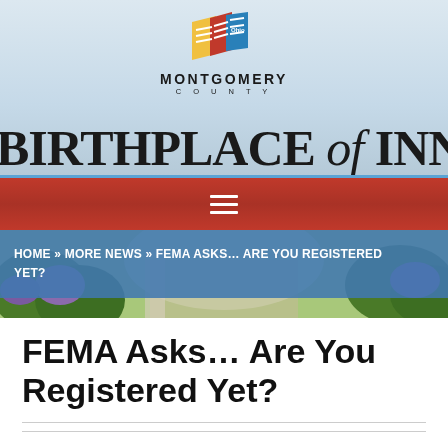[Figure (logo): Montgomery County 'Birthplace of Innovation' logo with colorful flag icons and large text banner]
HOME » MORE NEWS » FEMA ASKS... ARE YOU REGISTERED YET?
FEMA Asks... Are You Registered Yet?